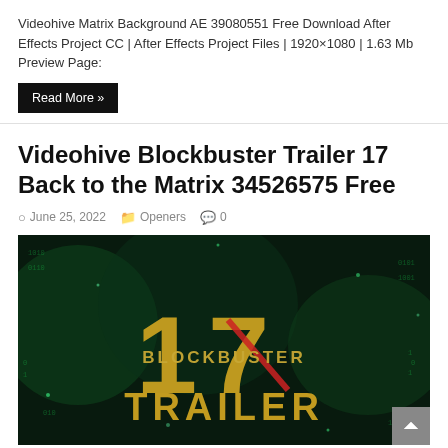Videohive Matrix Background AE 39080551 Free Download After Effects Project CC | After Effects Project Files | 1920×1080 | 1.63 Mb Preview Page:
Read More »
Videohive Blockbuster Trailer 17 Back to the Matrix 34526575 Free
June 25, 2022  Openers  0
[Figure (photo): Thumbnail image for Videohive Blockbuster Trailer 17 showing golden text '17 BLOCKBUSTER TRAILER' on a dark green matrix-style background]